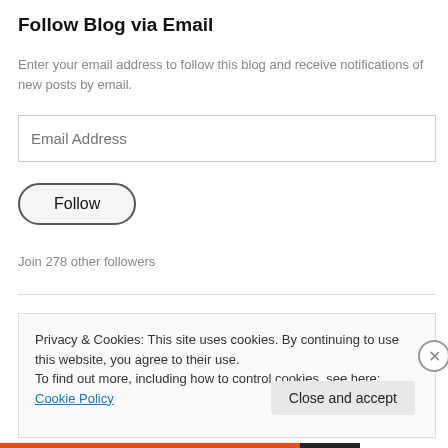Follow Blog via Email
Enter your email address to follow this blog and receive notifications of new posts by email.
Email Address
Follow
Join 278 other followers
Privacy & Cookies: This site uses cookies. By continuing to use this website, you agree to their use.
To find out more, including how to control cookies, see here: Cookie Policy
Close and accept